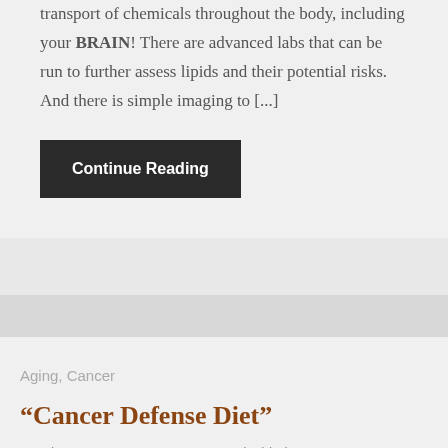transport of chemicals throughout the body, including your BRAIN! There are advanced labs that can be run to further assess lipids and their potential risks. And there is simple imaging to [...]
Continue Reading
Aging, Cancer
“Cancer Defense Diet”
March 3, 2017 × Comments are Disabled